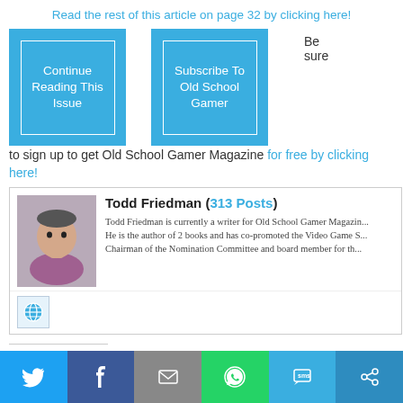Read the rest of this article on page 32 by clicking here!
[Figure (other): Two blue buttons: 'Continue Reading This Issue' and 'Subscribe To Old School Gamer']
Be sure to sign up to get Old School Gamer Magazine for free by clicking here!
Todd Friedman (313 Posts)
Todd Friedman is currently a writer for Old School Gamer Magazine. He is the author of 2 books and has co-promoted the Video Game Summit. Chairman of the Nomination Committee and board member for the...
Share this:
[Figure (infographic): Share buttons: Twitter, Facebook, Email, WhatsApp, SMS, Other]